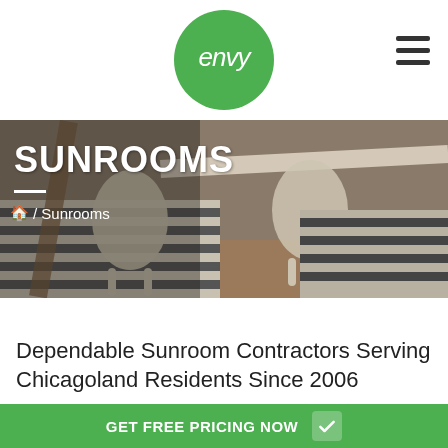[Figure (logo): Envy logo — green circle with white 'envy' text inside]
[Figure (photo): Sunrooms page hero banner showing outdoor patio furniture on a striped rug, with white wood chairs and a table]
SUNROOMS
🏠 / Sunrooms
Dependable Sunroom Contractors Serving Chicagoland Residents Since 2006
GET FREE PRICING NOW ✓